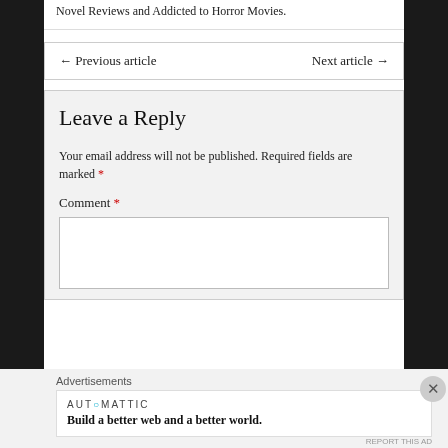Novel Reviews and Addicted to Horror Movies.
← Previous article    Next article →
Leave a Reply
Your email address will not be published. Required fields are marked *
Comment *
Advertisements
AUTOMATTIC
Build a better web and a better world.